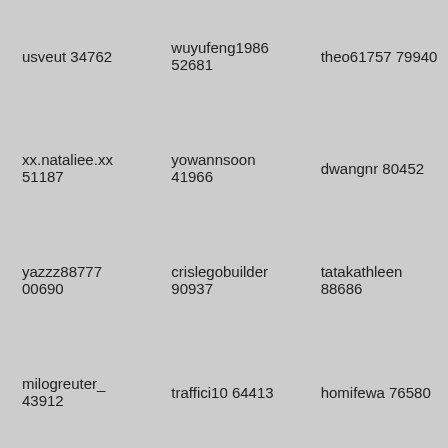usveut 34762
wuyufeng1986 52681
theo61757 79940
xx.nataliee.xx 51187
yowannsoon 41966
dwangnr 80452
yazzz88777 00690
crislegobuilder 90937
tatakathleen 88686
milogreuter_ 43912
traffici10 64413
homifewa 76580